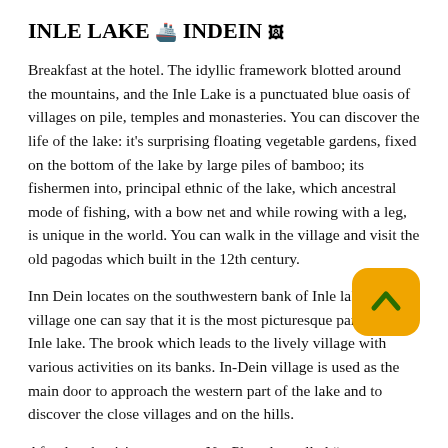INLE LAKE 🚢 INDEIN 🖼
Breakfast at the hotel. The idyllic framework blotted around the mountains, and the Inle Lake is a punctuated blue oasis of villages on pile, temples and monasteries. You can discover the life of the lake: it's surprising floating vegetable gardens, fixed on the bottom of the lake by large piles of bamboo; its fishermen into, principal ethnic of the lake, which ancestral mode of fishing, with a bow net and while rowing with a leg, is unique in the world. You can walk in the village and visit the old pagodas which built in the 12th century.
Inn Dein locates on the southwestern bank of Inle lake. Its village one can say that it is the most picturesque part of the Inle lake. The brook which leads to the lively village with various activities on its banks. In-Dein village is used as the main door to approach the western part of the lake and to discover the close villages and on the hills.
After lunch, visit monastery NgaPhe, also called “monastery of the jumping cats” since its monks drew up cats to be jumped inside